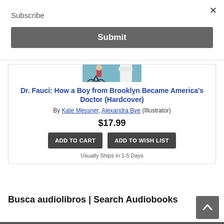×
Subscribe
Submit
[Figure (illustration): Book cover illustration showing a boy on a bicycle and a figure in a white doctor's coat with arms crossed, teal/blue background]
Dr. Fauci: How a Boy from Brooklyn Became America's Doctor (Hardcover)
By Kate Messner, Alexandra Bye (Illustrator)
$17.99
ADD TO CART
ADD TO WISH LIST
Usually Ships in 1-5 Days
Busca audiolibros | Search Audiobooks